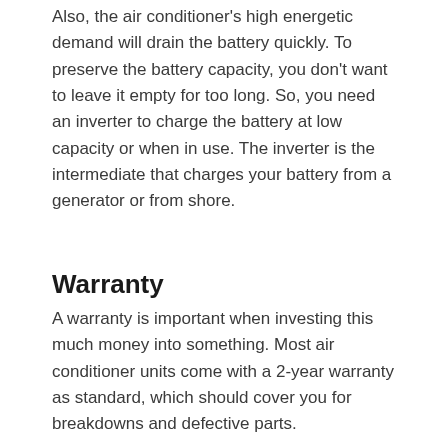Also, the air conditioner's high energetic demand will drain the battery quickly. To preserve the battery capacity, you don't want to leave it empty for too long. So, you need an inverter to charge the battery at low capacity or when in use. The inverter is the intermediate that charges your battery from a generator or from shore.
Warranty
A warranty is important when investing this much money into something. Most air conditioner units come with a 2-year warranty as standard, which should cover you for breakdowns and defective parts.
It's up to you whether you look for extended warranties, but you might be entitled to some cover through your RV insurance too. So take the time to look